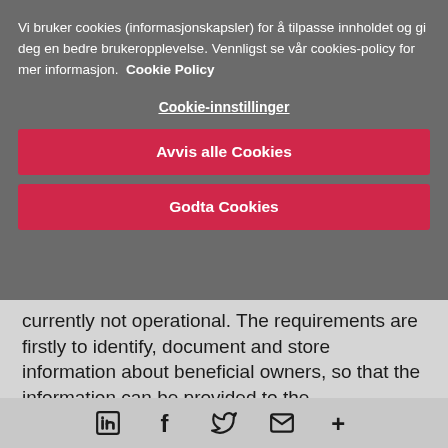Vi bruker cookies (informasjonskapsler) for å tilpasse innholdet og gi deg en bedre brukeropplevelse. Vennligst se vår cookies-policy for mer informasjon. Cookie Policy
Cookie-innstillinger
Avvis alle Cookies
Godta Cookies
currently not operational. The requirements are firstly to identify, document and store information about beneficial owners, so that the information can be provided to the
[Figure (other): Social media sharing icons: LinkedIn, Facebook, Twitter, Email, More]